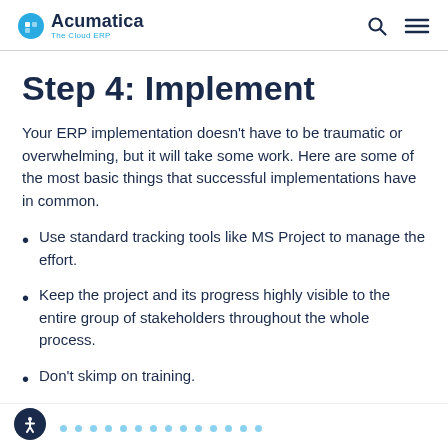Acumatica The Cloud ERP
Step 4: Implement
Your ERP implementation doesn't have to be traumatic or overwhelming, but it will take some work. Here are some of the most basic things that successful implementations have in common.
Use standard tracking tools like MS Project to manage the effort.
Keep the project and its progress highly visible to the entire group of stakeholders throughout the whole process.
Don't skimp on training.